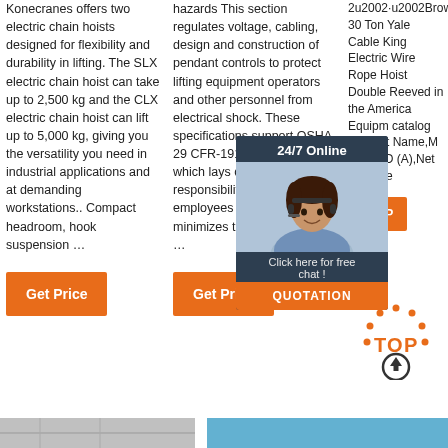Konecranes offers two electric chain hoists designed for flexibility and durability in lifting. The SLX electric chain hoist can take up to 2,500 kg and the CLX electric chain hoist can lift up to 5,000 kg, giving you the versatility you need in industrial applications and at demanding workstations.. Compact headroom, hook suspension …
Get Price
hazards This section regulates voltage, cabling, design and construction of pendant controls to protect lifting equipment operators and other personnel from electrical shock. These specifications support OSHA 29 CFR-1910 Subpart S, which lays out employers' responsibilities to provide employees a workplace that minimizes the risk of arc-flash …
Get Price
2u2002·u2002Browse 30 Ton Yale Cable King Electric Wire Rope Hoist Double Reeved in the American Equipment catalog Product Name,M Power,D (A),Net Diamete
[Figure (infographic): Chat box overlay with woman customer service representative, '24/7 Online' header, 'Click here for free chat!' text, and orange QUOTATION button]
Get P
[Figure (illustration): Orange and dark 'TOP' scroll-to-top icon with upward arrow]
[Figure (photo): Bottom strip showing partial image of crane/hoist equipment (grey)]
[Figure (photo): Bottom strip showing blue/teal background image]